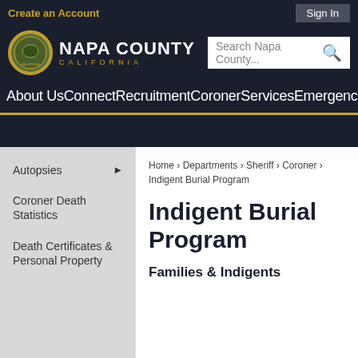Create an Account
Sign In
[Figure (logo): Napa County California seal logo and text: NAPA COUNTY CALIFORNIA]
Search Napa County...
About Us Connect Recruitment Coroner Services Emergencies
Autopsies ▶
Coroner Death Statistics
Death Certificates & Personal Property
Home › Departments › Sheriff › Coroner › Indigent Burial Program
Indigent Burial Program
Families & Indigents